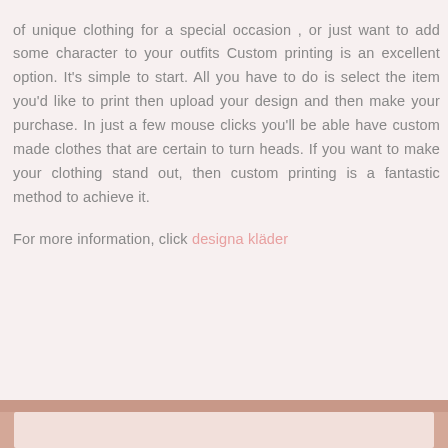of unique clothing for a special occasion , or just want to add some character to your outfits Custom printing is an excellent option. It's simple to start. All you have to do is select the item you'd like to print then upload your design and then make your purchase. In just a few mouse clicks you'll be able have custom made clothes that are certain to turn heads. If you want to make your clothing stand out, then custom printing is a fantastic method to achieve it.

For more information, click designa kläder
[Figure (photo): Partial image strip visible at the bottom of the page, showing what appears to be a pink/salmon colored fabric or clothing item]